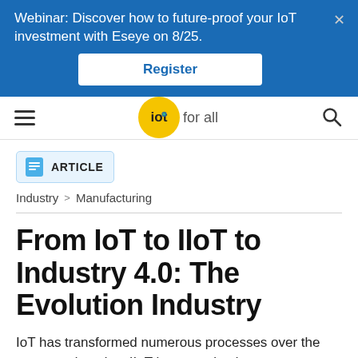Webinar: Discover how to future-proof your IoT investment with Eseye on 8/25.
Register
[Figure (logo): IoT for All logo — yellow circle with 'iot' text and a green dot, followed by 'for all' text]
ARTICLE
Industry > Manufacturing
From IoT to IIoT to Industry 4.0: The Evolution Industry
IoT has transformed numerous processes over the past two decades. IIoT is now poised to